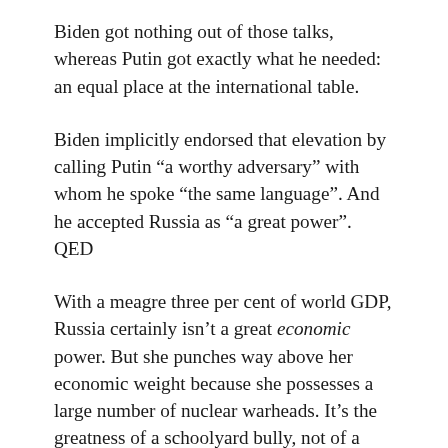Biden got nothing out of those talks, whereas Putin got exactly what he needed: an equal place at the international table.
Biden implicitly endorsed that elevation by calling Putin “a worthy adversary” with whom he spoke “the same language”. And he accepted Russia as “a great power”. QED
With a meagre three per cent of world GDP, Russia certainly isn’t a great economic power. But she punches way above her economic weight because she possesses a large number of nuclear warheads. It’s the greatness of a schoolyard bully, not of a bespectacled straight-A pupil.